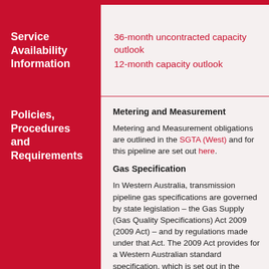Service Availability Information
36-month uncontracted capacity outlook
12-month capacity outlook
Policies, Procedures and Requirements
Metering and Measurement
Metering and Measurement obligations are outlined in the SGTA (West) and for this pipeline are set out here.
Gas Specification
In Western Australia, transmission pipeline gas specifications are governed by state legislation – the Gas Supply (Gas Quality Specifications) Act 2009 (2009 Act) – and by regulations made under that Act. The 2009 Act provides for a Western Australian standard specification, which is set out in the regulations (with some variations for particular pipelines).